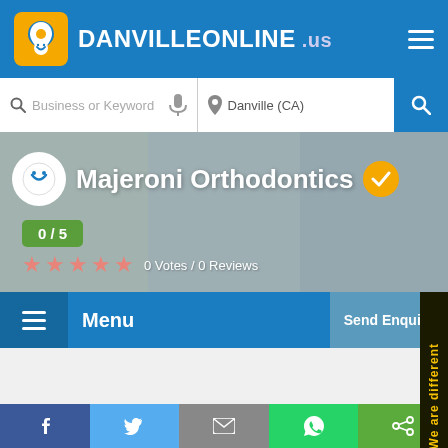DANVILLEONLINE .us
[Figure (screenshot): Search bar with Business or Keyword field and Danville (CA) location field]
Majeroni Orthodontics
0 / 5
0 Votes / 0 Reviews
Menu
Send Enquiry
We are different
f  Twitter  Email  WhatsApp  Share